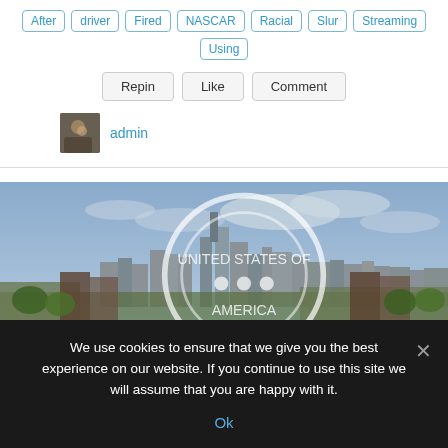After driver Fired NASCAR Racial Slur Streaming Using
Repin Like Comment
admin
[Figure (photo): Aerial city skyline photo with cloudy sky and a watermark circle logo in the upper left corner]
We use cookies to ensure that we give you the best experience on our website. If you continue to use this site we will assume that you are happy with it.
Ok